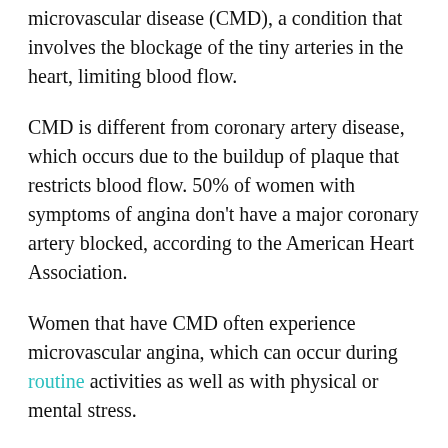microvascular disease (CMD), a condition that involves the blockage of the tiny arteries in the heart, limiting blood flow.
CMD is different from coronary artery disease, which occurs due to the buildup of plaque that restricts blood flow. 50% of women with symptoms of angina don't have a major coronary artery blocked, according to the American Heart Association.
Women that have CMD often experience microvascular angina, which can occur during routine activities as well as with physical or mental stress.
Diagnosis